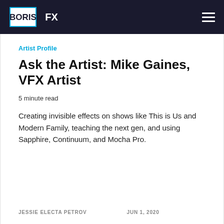BORIS FX
Artist Profile
Ask the Artist: Mike Gaines, VFX Artist
5 minute read
Creating invisible effects on shows like This is Us and Modern Family, teaching the next gen, and using Sapphire, Continuum, and Mocha Pro.
JESSIE ELECTA PETROV   JUN 1, 2020